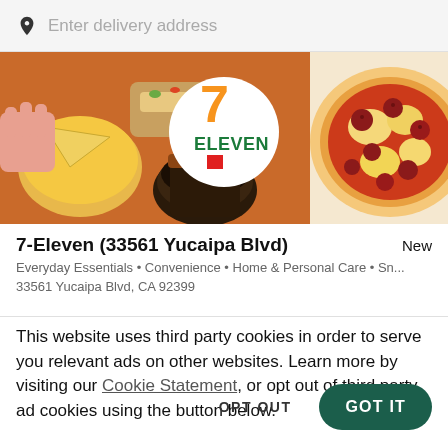Enter delivery address
[Figure (photo): 7-Eleven branded banner image showing food items: nacho chips with cheese dip, a coffee drink, a hot dog, and pepperoni pizza, with the 7-Eleven logo in the center on a white circle]
7-Eleven (33561 Yucaipa Blvd)
New
Everyday Essentials • Convenience • Home & Personal Care • Sn...
33561 Yucaipa Blvd, CA 92399
This website uses third party cookies in order to serve you relevant ads on other websites. Learn more by visiting our Cookie Statement, or opt out of third party ad cookies using the button below.
OPT OUT
GOT IT